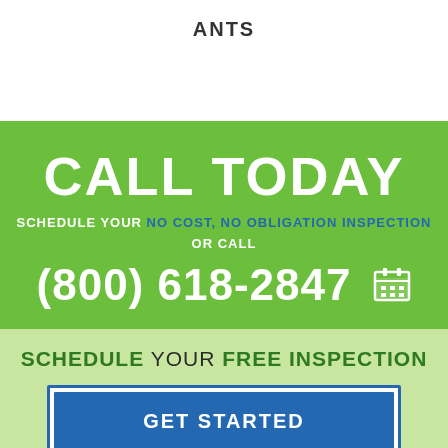ANTS
CALL TODAY
SCHEDULE YOUR NO COST, NO OBLIGATION INSPECTION OR CALL
(800) 618-2847
SCHEDULE YOUR FREE INSPECTION
GET STARTED